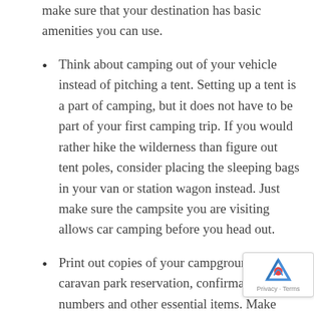make sure that your destination has basic amenities you can use.
Think about camping out of your vehicle instead of pitching a tent. Setting up a tent is a part of camping, but it does not have to be part of your first camping trip. If you would rather hike the wilderness than figure out tent poles, consider placing the sleeping bags in your van or station wagon instead. Just make sure the campsite you are visiting allows car camping before you head out.
Print out copies of your campground or caravan park reservation, confirmation numbers and other essential items. Make multiple copies and keep them in your glove box, wallet and other convenient places. It is a good idea to download the documents to